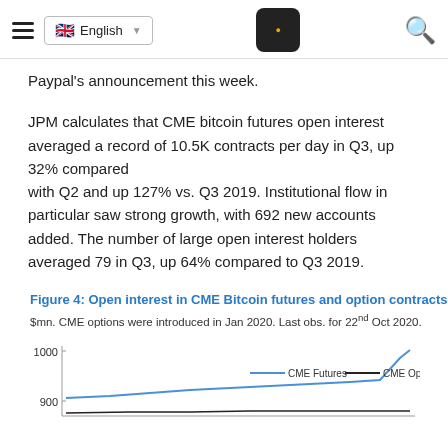English | [logo] | [search]
Paypal's announcement this week.
JPM calculates that CME bitcoin futures open interest averaged a record of 10.5K contracts per day in Q3, up 32% compared with Q2 and up 127% vs. Q3 2019. Institutional flow in particular saw strong growth, with 692 new accounts added. The number of large open interest holders averaged 79 in Q3, up 64% compared to Q3 2019.
Figure 4: Open interest in CME Bitcoin futures and option contracts
$mn. CME options were introduced in Jan 2020. Last obs. for 22nd Oct 2020.
[Figure (line-chart): Line chart showing open interest in CME Bitcoin futures and CME options in $mn. Y-axis shows values from 900 to 1000. Two lines: CME Futures (blue) and CME Options (black). Last observation for 22nd Oct 2020.]